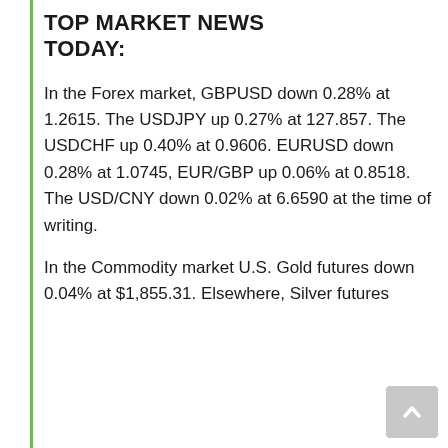TOP MARKET NEWS TODAY:
In the Forex market, GBPUSD down 0.28% at 1.2615. The USDJPY up 0.27% at 127.857. The USDCHF up 0.40% at 0.9606. EURUSD down 0.28% at 1.0745, EUR/GBP up 0.06% at 0.8518. The USD/CNY down 0.02% at 6.6590 at the time of writing.
In the Commodity market U.S. Gold futures down 0.04% at $1,855.31. Elsewhere, Silver futures